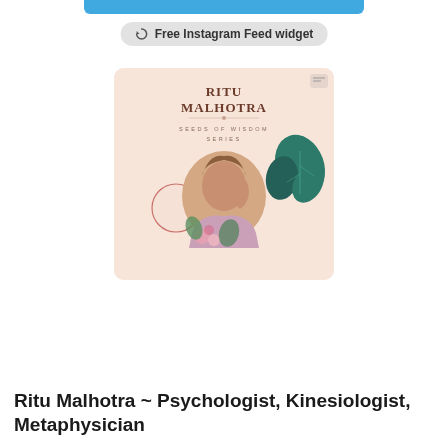[Figure (screenshot): Blue bar at top of widget]
Free Instagram Feed widget
[Figure (illustration): Instagram post card showing Ritu Malhotra - Seeds of Wisdom Series with a portrait photo of a woman surrounded by floral decorative elements on a peach/pink background]
Ritu Malhotra ~ Psychologist, Kinesiologist, Metaphysician